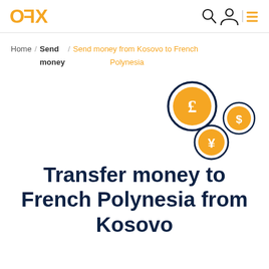OFX
Home / Send money / Send money from Kosovo to French Polynesia
[Figure (illustration): Three currency coin icons: a large pound (£) coin, a smaller dollar ($) coin, and a yen (¥) coin, styled in orange and navy, arranged in a floating cluster on the right side]
Transfer money to French Polynesia from Kosovo